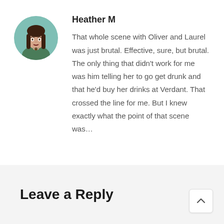[Figure (illustration): Circular avatar portrait of a woman with long dark brown hair wearing a green outfit, illustrated/drawn style, on a teal-green background]
Heather M
That whole scene with Oliver and Laurel was just brutal. Effective, sure, but brutal. The only thing that didn't work for me was him telling her to go get drunk and that he'd buy her drinks at Verdant. That crossed the line for me. But I knew exactly what the point of that scene was…
Leave a Reply